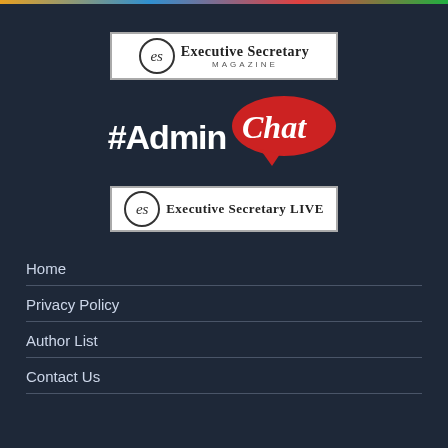[Figure (logo): Executive Secretary Magazine logo - white box with circular ES emblem and text]
[Figure (logo): #AdminChat logo - bold white text with red speech bubble containing italic Chat text]
[Figure (logo): Executive Secretary LIVE logo - white box with circular ES emblem and bold text]
Home
Privacy Policy
Author List
Contact Us